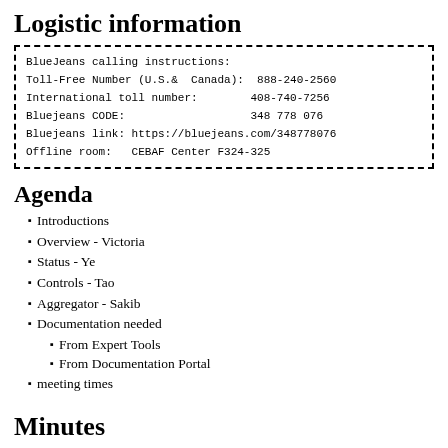Logistic information
BlueJeans calling instructions:
Toll-Free Number (U.S.&  Canada):  888-240-2560
International toll number:        408-740-7256
Bluejeans CODE:                   348 778 076
Bluejeans link: https://bluejeans.com/348778076
Offline room:   CEBAF Center F324-325
Agenda
Introductions
Overview - Victoria
Status - Ye
Controls - Tao
Aggregator - Sakib
Documentation needed
From Expert Tools
From Documentation Portal
meeting times
Minutes